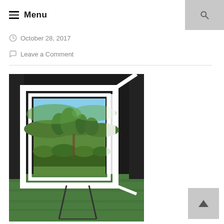≡ Menu
October 28, 2017
Leave a Comment
[Figure (photo): Outdoor photo of a framed mirror or window standing on a metal easel on green grass, reflecting a landscape with olive trees and blue sky. The frame is white, set against dark glass panels, with rolling hills and greenery visible in reflection.]